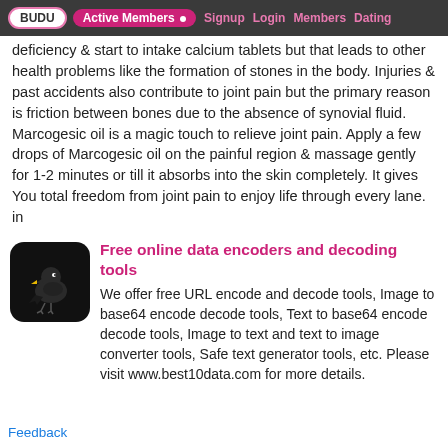BUDU | Active Members • | Signup | Login | Members | Dating
deficiency & start to intake calcium tablets but that leads to other health problems like the formation of stones in the body. Injuries & past accidents also contribute to joint pain but the primary reason is friction between bones due to the absence of synovial fluid. Marcogesic oil is a magic touch to relieve joint pain. Apply a few drops of Marcogesic oil on the painful region & massage gently for 1-2 minutes or till it absorbs into the skin completely. It gives You total freedom from joint pain to enjoy life through every lane. in
[Figure (illustration): Black rounded-square icon with a dark bird (crow/raven) silhouette holding a yellow item, on a black background]
Free online data encoders and decoding tools
We offer free URL encode and decode tools, Image to base64 encode decode tools, Text to base64 encode decode tools, Image to text and text to image converter tools, Safe text generator tools, etc. Please visit www.best10data.com for more details.
Feedback